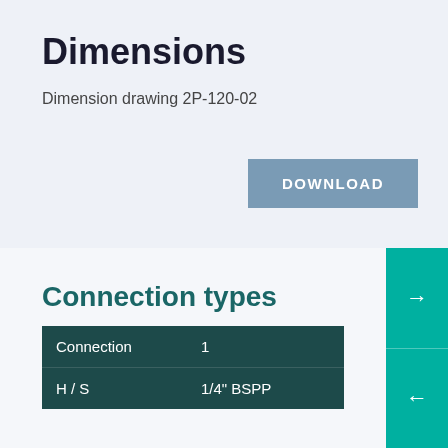Dimensions
Dimension drawing 2P-120-02
Connection types
| Connection | 1 |
| --- | --- |
| H / S | 1/4" BSPP |